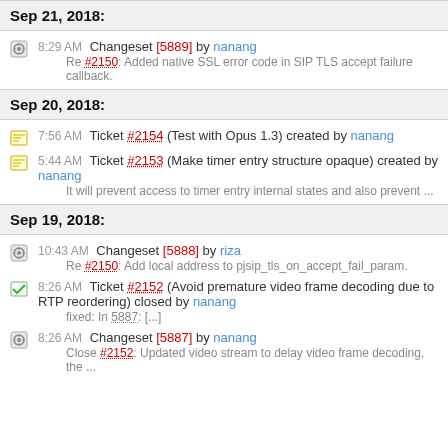Sep 21, 2018:
8:29 AM Changeset [5889] by nanang
Re #2150: Added native SSL error code in SIP TLS accept failure callback.
Sep 20, 2018:
7:56 AM Ticket #2154 (Test with Opus 1.3) created by nanang
5:44 AM Ticket #2153 (Make timer entry structure opaque) created by nanang
It will prevent access to timer entry internal states and also prevent ...
Sep 19, 2018:
10:43 AM Changeset [5888] by riza
Re #2150: Add local address to pjsip_tls_on_accept_fail_param.
8:26 AM Ticket #2152 (Avoid premature video frame decoding due to RTP reordering) closed by nanang
fixed: In 5887: [...]
8:26 AM Changeset [5887] by nanang
Close #2152: Updated video stream to delay video frame decoding, the ...